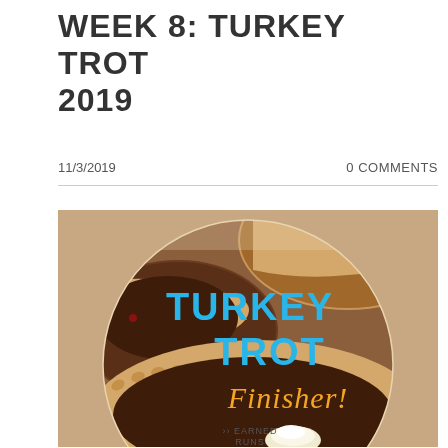WEEK 8: TURKEY TROT 2019
11/3/2019
0 COMMENTS
[Figure (photo): Circular badge/medal image showing chocolate pies with text 'TURKEY TROT Finisher!' in cyan bold letters and 'Finisher!' in orange italic script, with 'EARNED RUNS' branding at the bottom on a food photo background.]